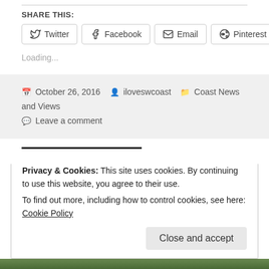SHARE THIS:
Twitter  Facebook  Email  Pinterest
Loading...
October 26, 2016  iloveswcoast  Coast News and Views  Leave a comment
Privacy & Cookies: This site uses cookies. By continuing to use this website, you agree to their use.
To find out more, including how to control cookies, see here: Cookie Policy
Close and accept
[Figure (photo): Bottom strip showing a green landscape/vegetation photo]